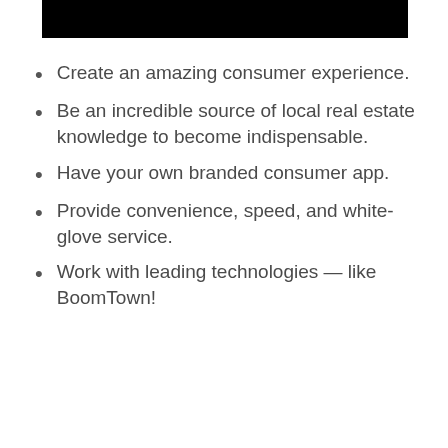[Figure (other): Black rectangular bar/banner at the top of the page]
Create an amazing consumer experience.
Be an incredible source of local real estate knowledge to become indispensable.
Have your own branded consumer app.
Provide convenience, speed, and white-glove service.
Work with leading technologies — like BoomTown!